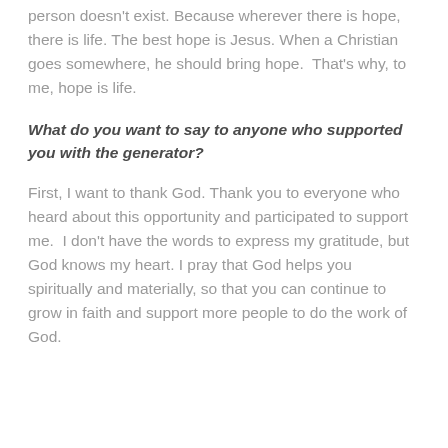person doesn't exist. Because wherever there is hope, there is life. The best hope is Jesus. When a Christian goes somewhere, he should bring hope.  That's why, to me, hope is life.
What do you want to say to anyone who supported you with the generator?
First, I want to thank God. Thank you to everyone who heard about this opportunity and participated to support me.  I don't have the words to express my gratitude, but God knows my heart. I pray that God helps you spiritually and materially, so that you can continue to grow in faith and support more people to do the work of God.